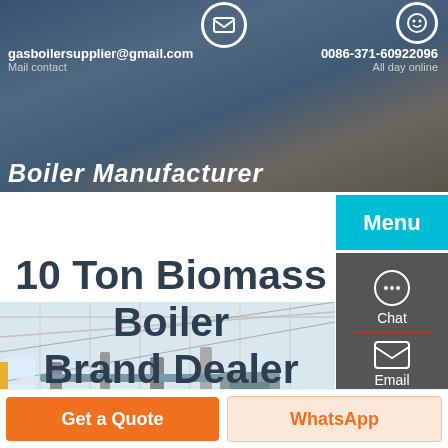gasboilersupplier@gmail.com | Mail contact | 0086-371-60922096 | All day online
Boiler Manufacturer
[Figure (screenshot): Menu navigation button in teal/cyan color]
10 Ton Biomass Boiler Brand Dealer
[Figure (photo): Interior of industrial boiler manufacturing facility showing pipes and equipment]
[Figure (other): Right sidebar with Chat, Email, and Contact icons on dark grey background]
Get a Quote
WhatsApp